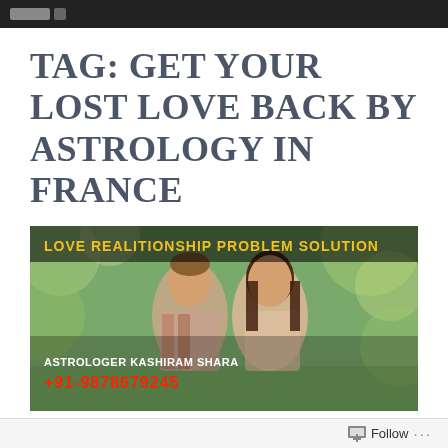TAG: GET YOUR LOST LOVE BACK BY ASTROLOGY IN FRANCE
[Figure (photo): Banner image showing a couple smiling at each other outdoors with green bokeh background. Text overlay: 'LOVE REALITIONSHIP PROBLEM SOLUTION' in yellow/green, 'ASTROLOGER KASHIRAM SHARA' in white, '+91-9878679245' in red.]
Get Your Lost Love Back by Astrology
Follow